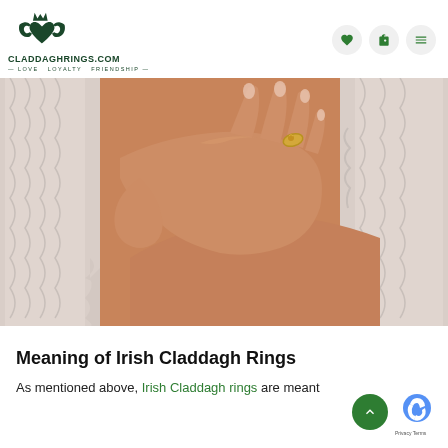[Figure (logo): CladdaghRings.com logo with Claddagh symbol (hands holding crowned heart) in dark green, with text CLADDAGHRINGS.COM and tagline LOVE LOYALTY FRIENDSHIP]
[Figure (photo): Close-up photo of a woman's hands wearing a gold Claddagh ring, resting on white lace fabric]
Meaning of Irish Claddagh Rings
As mentioned above, Irish Claddagh rings are meant